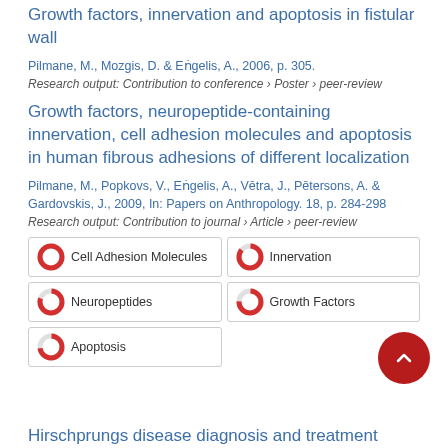Growth factors, innervation and apoptosis in fistular wall
Pilmane, M., Mozgis, D. & Eṅgelis, A., 2006, p. 305.
Research output: Contribution to conference › Poster › peer-review
Growth factors, neuropeptide-containing innervation, cell adhesion molecules and apoptosis in human fibrous adhesions of different localization
Pilmane, M., Popkovs, V., Eṅgelis, A., Vētra, J., Pētersons, A. & Gardovskis, J., 2009, In: Papers on Anthropology. 18, p. 284-298
Research output: Contribution to journal › Article › peer-review
Cell Adhesion Molecules
Innervation
Neuropeptides
Growth Factors
Apoptosis
Hirschprungs disease diagnosis and treatment